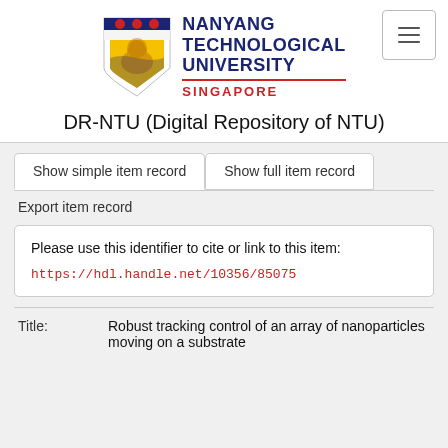[Figure (logo): Nanyang Technological University Singapore logo with shield crest]
DR-NTU (Digital Repository of NTU)
Show simple item record	Show full item record
Export item record
Please use this identifier to cite or link to this item:
https://hdl.handle.net/10356/85075
| Field | Value |
| --- | --- |
| Title: | Robust tracking control of an array of nanoparticles moving on a substrate |